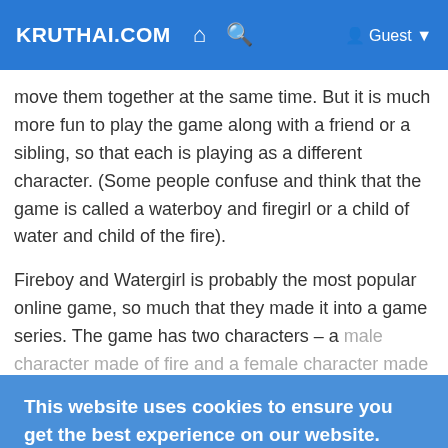KRUTHAI.COM
move them together at the same time. But it is much more fun to play the game along with a friend or a sibling, so that each is playing as a different character. (Some people confuse and think that the game is called a waterboy and firegirl or a child of water and child of the fire).
Fireboy and Watergirl is probably the most popular online game, so much that they made it into a game series. The game has two characters – a male character made of fire and a female character made of water. This game could be played by two players using the same keyboard AWD keys to control the water girl while the arrow keys control the water boy. Let's see who finishes first. Check more about these games here.
This website uses cookies to ensure you get the best experience on our website. Learn More
Got It!
Free online multiplayer